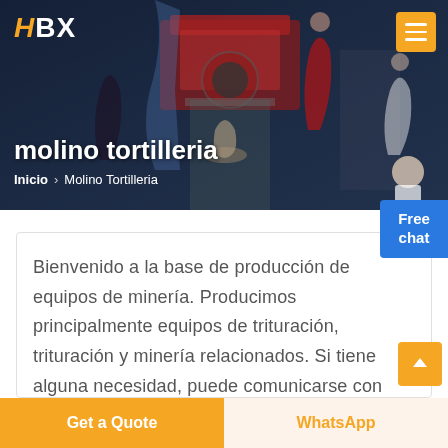[Figure (screenshot): Hero banner with industrial/mining machinery in background, dark blue-grey tint overlay, with decorative figures of women in dresses posed around the machinery]
HBX
molino tortilleria
Inicio > Molino Tortilleria
Free chat
Bienvenido a la base de producción de equipos de minería. Producimos principalmente equipos de trituración, trituración y minería relacionados. Si tiene alguna necesidad, puede comunicarse con
Get a Quote
WhatsApp